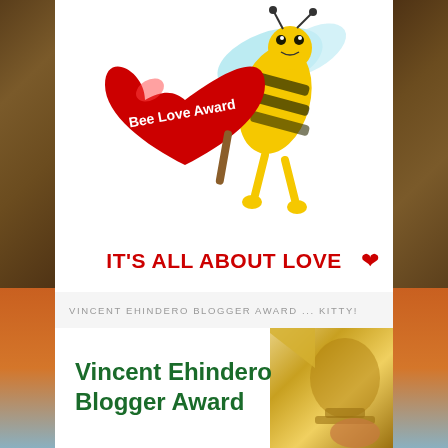[Figure (illustration): Bee Love Award illustration: cartoon bee holding a large red heart with 'Bee Love Award' text in white, with IT'S ALL ABOUT LOVE text in red below]
VINCENT EHINDERO BLOGGER AWARD ... KITTY!
[Figure (illustration): Vincent Ehindero Blogger Award text in green bold with golden trophy image on the right]